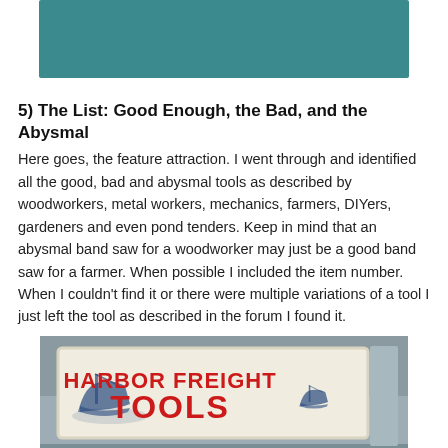[Figure (photo): Teal/blue-green decorative banner image at top of page]
5) The List: Good Enough, the Bad, and the Abysmal
Here goes, the feature attraction. I went through and identified all the good, bad and abysmal tools as described by woodworkers, metal workers, mechanics, farmers, DIYers, gardeners and even pond tenders. Keep in mind that an abysmal band saw for a woodworker may just be a good band saw for a farmer. When possible I included the item number. When I couldn’t find it or there were multiple variations of a tool I just left the tool as described in the forum I found it.
[Figure (photo): Photo of Harbor Freight Tools store sign with boat logo and bold red text reading HARBOR FREIGHT TOOLS]